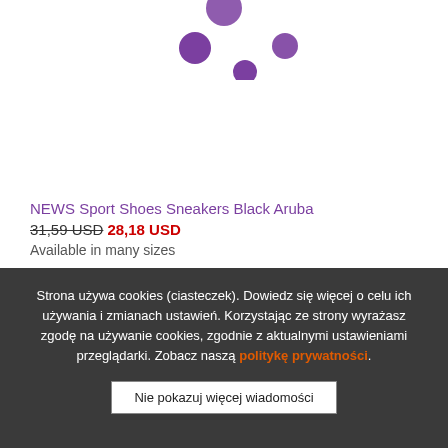[Figure (illustration): Purple loading spinner dots partially visible at the top of the page]
NEWS Sport Shoes Sneakers Black Aruba
31,59 USD 28,18 USD
Available in many sizes
Strona używa cookies (ciasteczek). Dowiedz się więcej o celu ich używania i zmianach ustawień. Korzystając ze strony wyrażasz zgodę na używanie cookies, zgodnie z aktualnymi ustawieniami przeglądarki. Zobacz naszą politykę prywatności.
Nie pokazuj więcej wiadomości